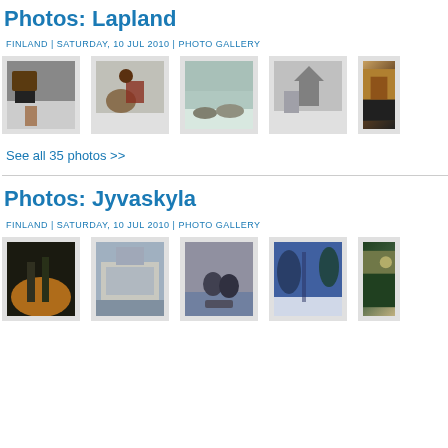Photos: Lapland
FINLAND | SATURDAY, 10 JUL 2010 | PHOTO GALLERY
[Figure (photo): Photo gallery thumbnails of Lapland, Finland — reindeer, traditional Sami clothing, sled rides in snow]
See all 35 photos >>
Photos: Jyvaskyla
FINLAND | SATURDAY, 10 JUL 2010 | PHOTO GALLERY
[Figure (photo): Photo gallery thumbnails of Jyvaskyla, Finland — winter scenes, city buildings, people on a sled, snowy forest path]